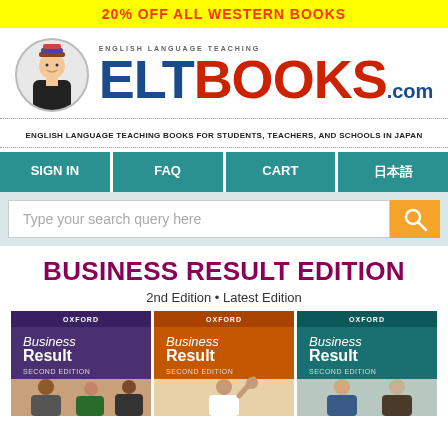20% OFF ALL WESTERN BOOKS
[Figure (logo): ELT Books logo with circle portrait and ENGLISH LANGUAGE TEACHING ELTBooks.com wordmark]
ENGLISH LANGUAGE TEACHING BOOKS FOR STUDENTS, TEACHERS, AND SCHOOLS IN JAPAN
SIGN IN  FAQ  CART  日本語
Type your search query here
BUSINESS RESULT EDITION
2nd Edition • Latest Edition
[Figure (photo): Three Business Result 2nd Edition book covers side by side with purple, orange, and teal spine colors]